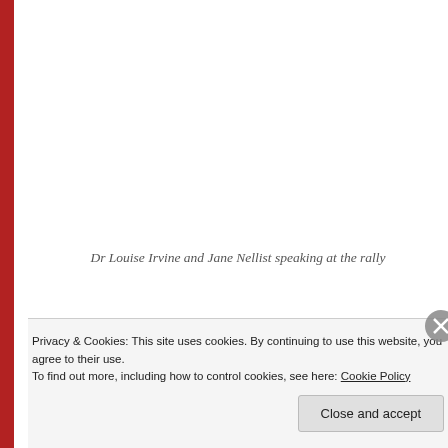[Figure (photo): Image area showing Dr Louise Irvine and Jane Nellist speaking at the rally (image content cropped/not visible)]
Dr Louise Irvine and Jane Nellist speaking at the rally
Socialist Party members also ran a stall, distributing leaflets and selling The Socialist newspaper as well the Socialism Today magazine. The amount of interest shown in our literature reflects the public's appetite to
Privacy & Cookies: This site uses cookies. By continuing to use this website, you agree to their use.
To find out more, including how to control cookies, see here: Cookie Policy
Close and accept